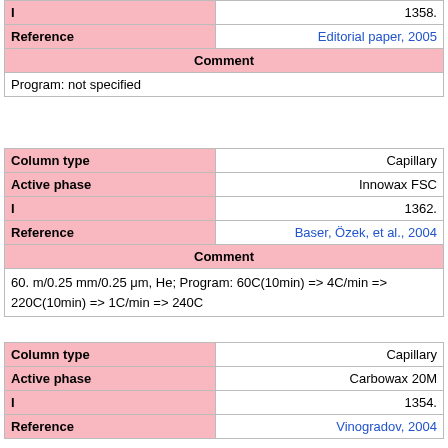| I | 1358. |
| Reference | Editorial paper, 2005 |
| Comment |  |
| Program: not specified |  |
| Column type | Capillary |
| Active phase | Innowax FSC |
| I | 1362. |
| Reference | Baser, Özek, et al., 2004 |
| Comment |  |
| 60. m/0.25 mm/0.25 μm, He; Program: 60C(10min) => 4C/min => 220C(10min) => 1C/min => 240C |  |
| Column type | Capillary |
| Active phase | Carbowax 20M |
| I | 1354. |
| Reference | Vinogradov, 2004 |